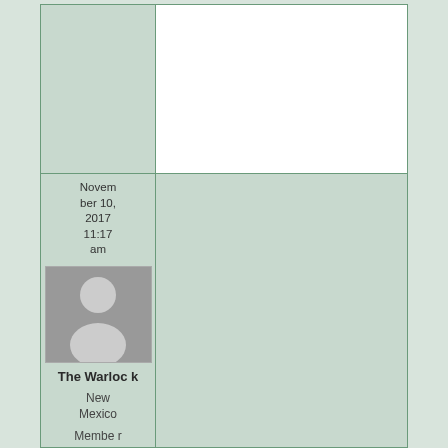November 10, 2017 11:17 am
[Figure (illustration): Default user avatar — grey silhouette of a person on a grey background]
The Warlock
New Mexico
Member
Forum Posts: 11549
Member Since: March